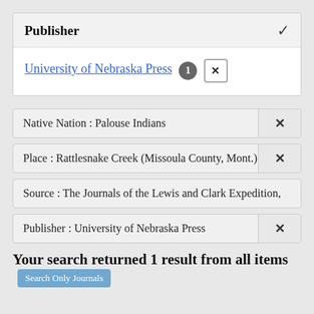Publisher
University of Nebraska Press 1 ×
Native Nation : Palouse Indians ×
Place : Rattlesnake Creek (Missoula County, Mont.) ×
Source : The Journals of the Lewis and Clark Expedition,
Publisher : University of Nebraska Press ×
Your search returned 1 result from all items  Search Only Journals